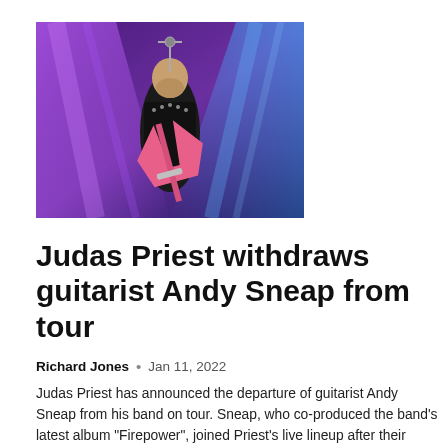[Figure (photo): Guitarist performing on stage with purple stage lighting, wearing a studded black leather jacket, playing an electric guitar at a microphone stand.]
Judas Priest withdraws guitarist Andy Sneap from tour
Richard Jones  •  Jan 11, 2022
Judas Priest has announced the departure of guitarist Andy Sneap from his band on tour. Sneap, who co-produced the band's latest album "Firepower", joined Priest's live lineup after their longtime guitarist Glenn Tipton announced he was...
[Figure (photo): Group of musicians or band members photographed outdoors.]